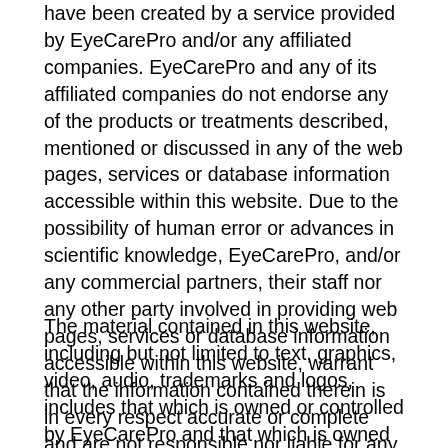have been created by a service provided by EyeCarePro and/or any affiliated companies. EyeCarePro and any of its affiliated companies do not endorse any of the products or treatments described, mentioned or discussed in any of the web pages, services or database information accessible within this website. Due to the possibility of human error or advances in scientific knowledge, EyeCarePro, and/or any commercial partners, their staff nor any other party involved in providing web pages, services or database information accessible within this website, warrant that the information contained therein is in every respect accurate or complete and are not responsible nor liable for any errors or omissions that may be found in such information or for the results obtained from the use of such information.
The material contained in this website, including but not limited to text, graphics, video, audio, trademarks and logos, includes that which is owned or controlled by EyeCarePro and that which is owned or controlled by third parties. EyeCarePro authorizes you to view and download a single copy of the Material on the web site solely for